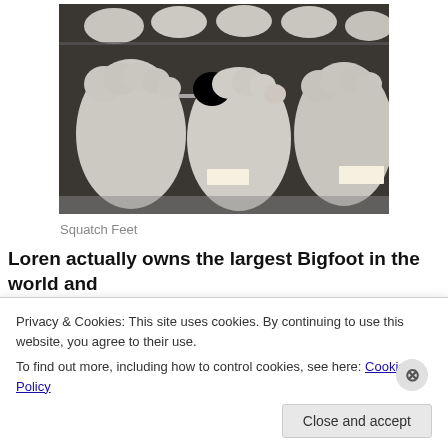[Figure (photo): Photo of plaster cast replicas of large Bigfoot/Sasquatch feet displayed in a glass case, viewed from above. White/grey casts showing toe and foot shapes arranged in rows.]
Squatch Feet
Loren actually owns the largest Bigfoot in the world and
Privacy & Cookies: This site uses cookies. By continuing to use this website, you agree to their use.
To find out more, including how to control cookies, see here: Cookie Policy
Close and accept